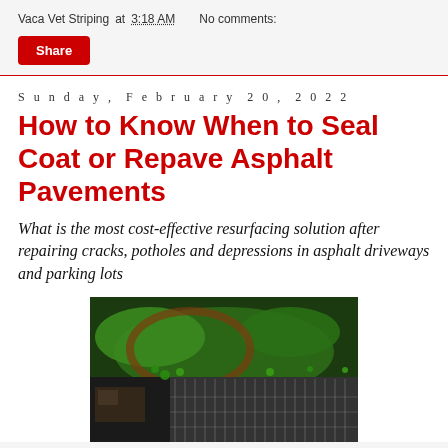Vaca Vet Striping at 3:18 AM   No comments:
Share
Sunday, February 20, 2022
How to Know When to Seal Coat or Repave Asphalt Pavements
What is the most cost-effective resurfacing solution after repairing cracks, potholes and depressions in asphalt driveways and parking lots
[Figure (photo): Aerial view of a large parking lot with green landscaping surrounding it, showing asphalt pavement with parked cars and trees.]